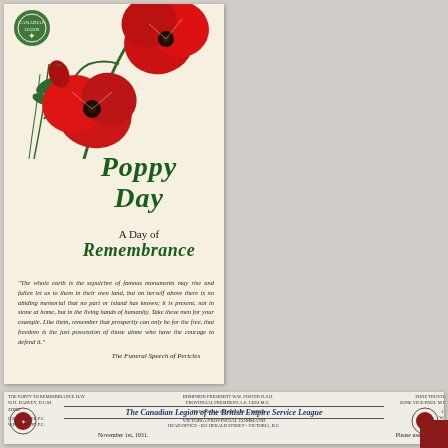[Figure (illustration): Poppy Day flyer with red poppies illustration, Canadian Legion badge in top-left corner, green Gothic-style text reading 'Poppy Day - A Day of Remembrance', and a quote from the Funeral Speech of Pericles below]
Poppy Day
A Day of Remembrance
"The whole earth is the sepulchre of famous men; and their story is not graven only on stone over their native earth, but lives on far away without visible symbol, woven into the stuff of other men's lives. For the whole world is the sepulchre of great men, and their story is not graven only on stone over their native earth, but lives on far away, without visible symbol, woven into the stuff of other men's lives."
The Funeral Speech of Pericles
[Figure (letterhead): The Canadian Legion of the British Empire Service League letterhead with emblems on both sides, organizational header text, address information, date line November 1st 1931, and file reference number]